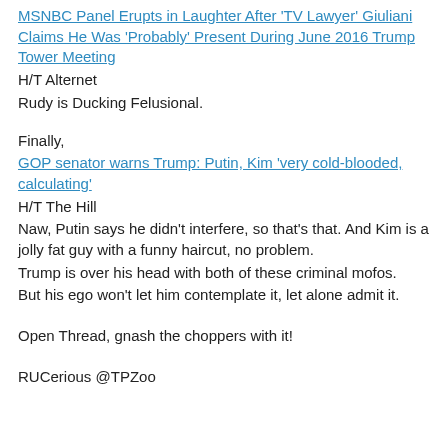MSNBC Panel Erupts in Laughter After 'TV Lawyer' Giuliani Claims He Was 'Probably' Present During June 2016 Trump Tower Meeting
H/T Alternet
Rudy is Ducking Felusional.
Finally,
GOP senator warns Trump: Putin, Kim 'very cold-blooded, calculating'
H/T The Hill
Naw, Putin says he didn't interfere, so that's that. And Kim is a jolly fat guy with a funny haircut, no problem.
Trump is over his head with both of these criminal mofos.
But his ego won't let him contemplate it, let alone admit it.
Open Thread, gnash the choppers with it!
RUCerious @TPZoo